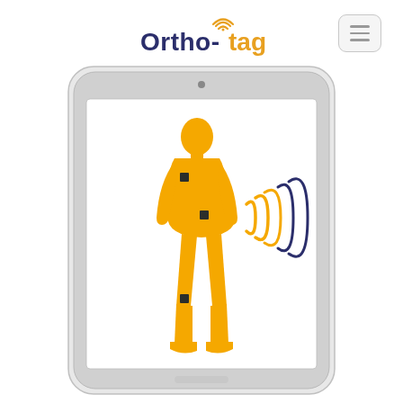[Figure (logo): Ortho-tag logo with wireless signal arcs above the letter t, in dark navy and gold colors]
[Figure (illustration): Screenshot of a tablet device displaying a golden human body silhouette with three small black sensor squares on the chest, abdomen, and knee. Wireless signal waves (gold and navy arcs) emanate from the body toward the right side of the tablet screen, representing wireless data transmission from orthopedic implant sensors.]